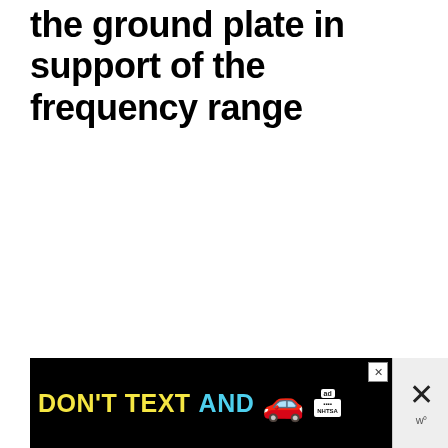the ground plate in support of the frequency range
[Figure (other): Advertisement banner: black background with yellow text 'DON'T TEXT' and cyan text 'AND' with a red car emoji, ad badge and NHTSA logo. Close/dismiss button area on right side.]